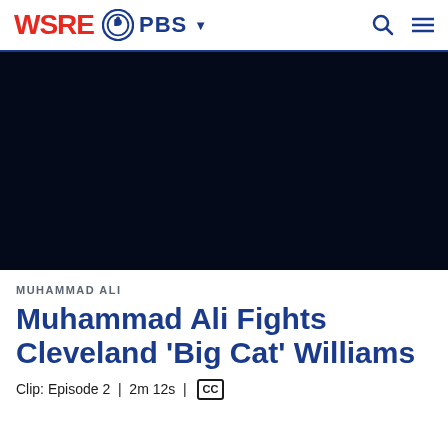WSRE PBS
[Figure (screenshot): Black video player area, currently dark/empty]
MUHAMMAD ALI
Muhammad Ali Fights Cleveland 'Big Cat' Williams
Clip: Episode 2 | 2m 12s | CC